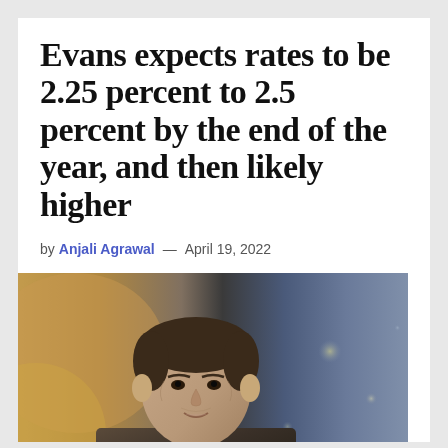Evans expects rates to be 2.25 percent to 2.5 percent by the end of the year, and then likely higher
by Anjali Agrawal — April 19, 2022
[Figure (photo): Photograph of a middle-aged man in a dark suit with a light blue shirt, appearing to speak, with a blurred studio background featuring warm orange/amber tones on the left and cool blue/teal tones on the right with bokeh light effects.]